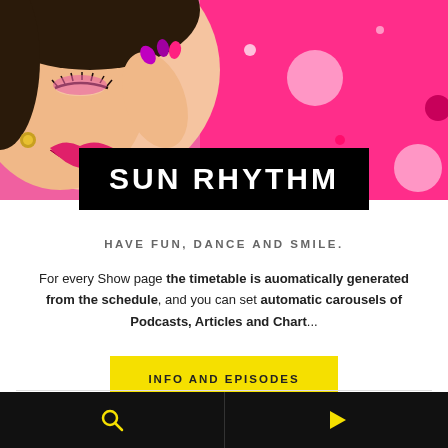[Figure (photo): Woman with pink makeup and nail art smiling, on pink polka dot background. Show banner image for Sun Rhythm.]
SUN RHYTHM
HAVE FUN, DANCE AND SMILE.
For every Show page the timetable is auomatically generated from the schedule, and you can set automatic carousels of Podcasts, Articles and Chart...
INFO AND EPISODES
UPCOMING SHOWS